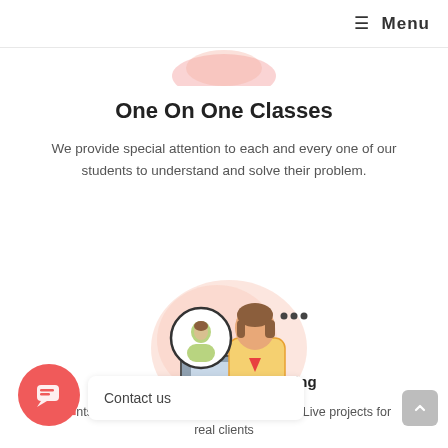≡ Menu
[Figure (illustration): Partial decorative pink/salmon blob shape at top center]
One On One Classes
We provide special attention to each and every one of our students to understand and solve their problem.
[Figure (illustration): Illustration of an online teacher/tutor at a computer with a student avatar in a circle above, with decorative pink blob background]
t Based Training
Students of our institute are trained to work on Live projects for real clients